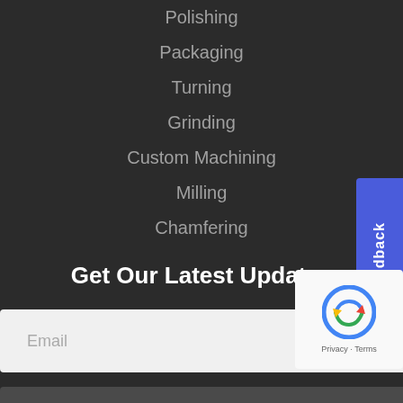Polishing
Packaging
Turning
Grinding
Custom Machining
Milling
Chamfering
Get Our Latest Updates
Email (input field)
Subscribe (button)
Follow Us